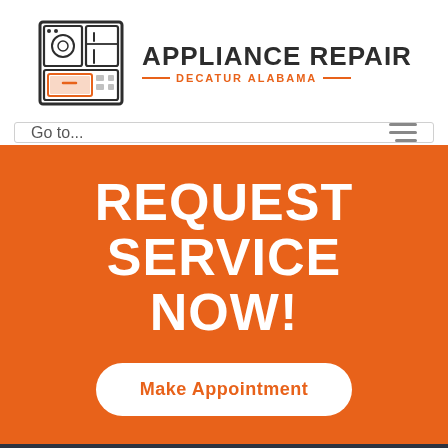[Figure (logo): Appliance Repair Decatur Alabama logo with appliance icons (washer, refrigerator, microwave) in a square outline and brand text to the right]
Go to...
REQUEST SERVICE NOW!
Make Appointment